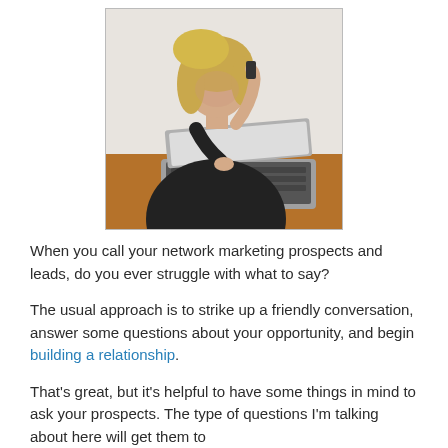[Figure (photo): A woman with long blonde hair wearing a black top, talking on a mobile phone while working on a laptop at a wooden desk.]
When you call your network marketing prospects and leads, do you ever struggle with what to say?
The usual approach is to strike up a friendly conversation, answer some questions about your opportunity, and begin building a relationship.
That's great, but it's helpful to have some things in mind to ask your prospects. The type of questions I'm talking about here will get them to